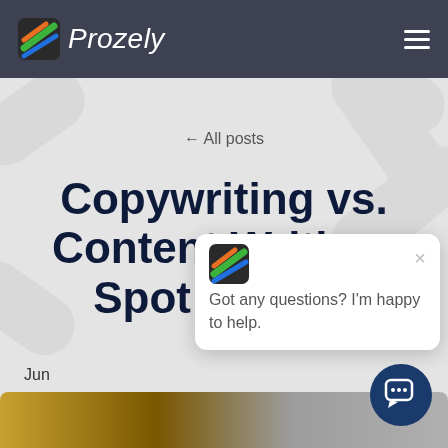Prozely
← All posts
Copywriting vs. Content Writing: Spot the Diff
Jun...
Resources, Tips
[Figure (screenshot): Chat popup widget with Prozely logo icon, close button (×), and message 'Got any questions? I'm happy to help.' with a dark blue circular chat button at bottom right]
[Figure (photo): Partial image strip at the bottom of the page showing a scene with yellow/brown tones on the left]